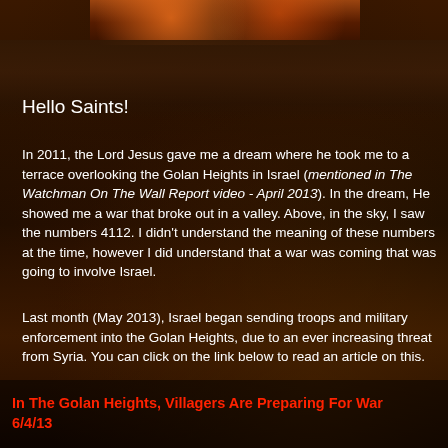[Figure (illustration): Partial illustration/image at top center showing fiery clouds and dramatic sky scene]
Hello Saints!
In 2011, the Lord Jesus gave me a dream where he took me to a terrace overlooking the Golan Heights in Israel (mentioned in The Watchman On The Wall Report video - April 2013). In the dream, He showed me a war that broke out in a valley. Above, in the sky, I saw the numbers 4112. I didn't understand the meaning of these numbers at the time, however I did understand that a war was coming that was going to involve Israel.
Last month (May 2013), Israel began sending troops and military enforcement into the Golan Heights, due to an ever increasing threat from Syria. You can click on the link below to read an article on this.
In The Golan Heights, Villagers Are Preparing For War 6/4/13